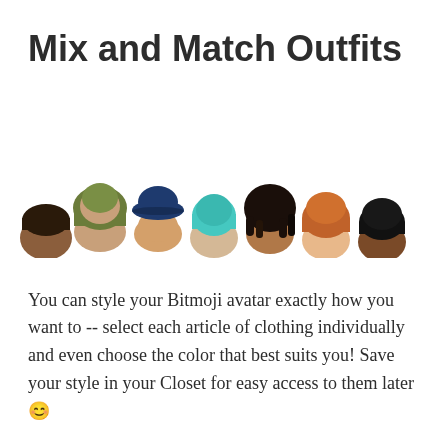Mix and Match Outfits
[Figure (illustration): Seven cartoon Bitmoji avatar heads shown in a horizontal row, each with different hair styles and colors: dark brown short hair, olive/green hoodie, dark blue bucket hat, cyan/teal hair, dark dreadlocks, orange/auburn hair, black short hair. Only the tops of the heads are visible, cropped at roughly mid-face.]
You can style your Bitmoji avatar exactly how you want to -- select each article of clothing individually and even choose the color that best suits you! Save your style in your Closet for easy access to them later 😊